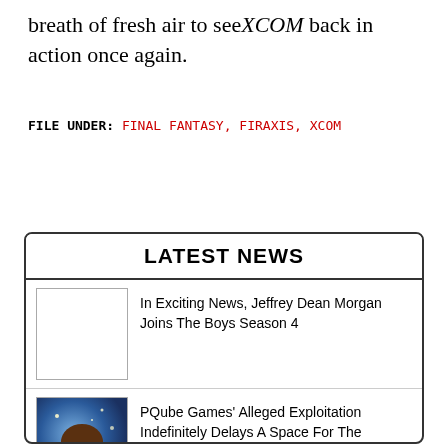breath of fresh air to see XCOM back in action once again.
FILE UNDER: FINAL FANTASY, FIRAXIS, XCOM
LATEST NEWS
In Exciting News, Jeffrey Dean Morgan Joins The Boys Season 4
PQube Games’ Alleged Exploitation Indefinitely Delays A Space For The Unbound